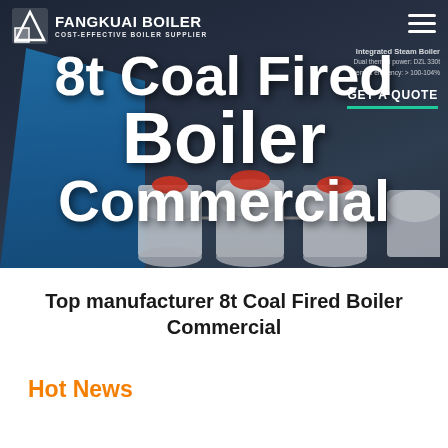[Figure (screenshot): Hero banner image of a coal fired boiler website showing industrial boiler equipment in a dark blue-grey setting, with navigation header showing logo 'FANGKUAI BOILER' and 'COST-EFFECTIVE BOILER SUPPLIER', a GET A QUOTE button, and large white text reading '8t Coal Fired Boiler Commercial']
Top manufacturer 8t Coal Fired Boiler Commercial
Hot News